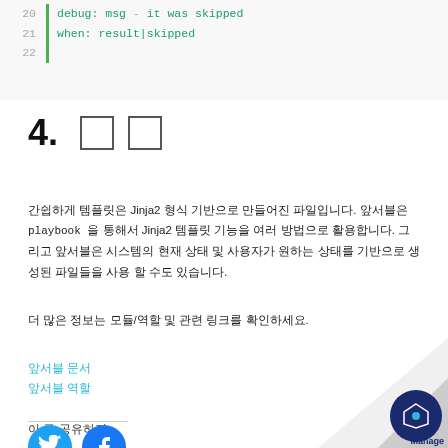20   debug: msg - it was skipped
21   when: result|skipped
22
4. 결론
앤서블에서 템플릿은 Jinja2 형식 기반으로 만들어진 파일입니다. 앤서블은 playbook 을 통해서 Jinja2 템플릿 기능을 여러 방법으로 활용합니다. 그리고 앤서블은 시스템의 현재 상태 및 사용자가 원하는 상태를 기반으로 생성된 파일들을 사용 할 수도 있습니다.
더 많은 정보는 모듈/역할 및 관련 링크를 확인하세요.
앤서블 문서
앤서블 역할
이 글 공유하기:
[Figure (illustration): Twitter and Facebook social share buttons, followed by a page curl with Manage Engine logo in the bottom right corner]